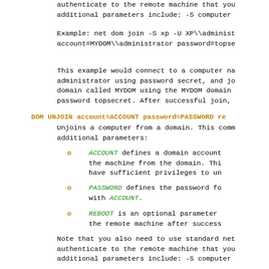authenticate to the remote machine that you
additional parameters include: -S computer
Example: net dom join -S xp -U XP\\administ
account=MYDOM\\administrator password=topse
This example would connect to a computer na
administrator using password secret, and jo
domain called MYDOM using the MYDOM domain
password topsecret. After successful join,
DOM UNJOIN account=ACCOUNT password=PASSWORD re
Unjoins a computer from a domain. This comm
additional parameters:
ACCOUNT defines a domain account
the machine from the domain. Thi
have sufficient privileges to un
PASSWORD defines the password fo
with ACCOUNT.
REBOOT is an optional parameter
the remote machine after success
Note that you also need to use standard net
authenticate to the remote machine that you
additional parameters include: -S computer